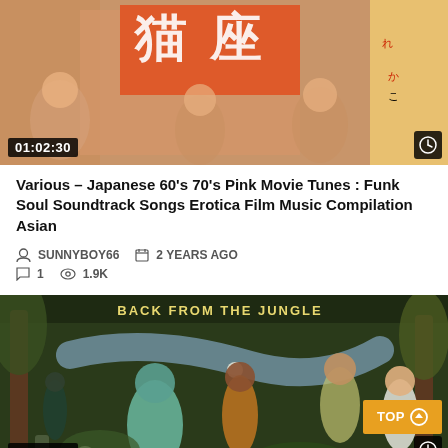[Figure (screenshot): Video thumbnail showing Japanese movie poster with characters and Japanese text, duration badge 01:02:30 in bottom-left, clock icon in bottom-right]
Various – Japanese 60's 70's Pink Movie Tunes : Funk Soul Soundtrack Songs Erotica Film Music Compilation Asian
SUNNYBOY66   2 YEARS AGO   1   1.9K
[Figure (screenshot): Video thumbnail showing illustrated jungle scene with zombie, snake, and various figures, text BACK FROM THE JUNGLE at top, duration badge 00:38:20 in bottom-left, TOP button in bottom-right]